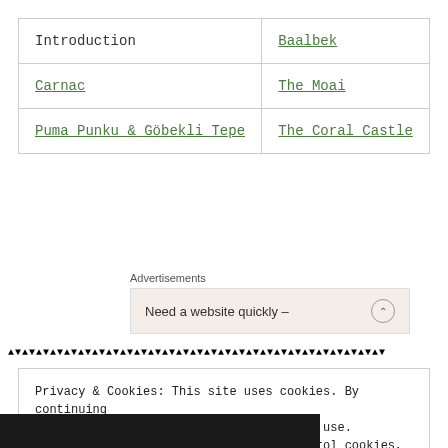| Introduction | Baalbek |
| Carnac | The Moai |
| Puma Punku & Göbekli Tepe | The Coral Castle |
Advertisements
Need a website quickly –
▲▼▲▼▲▼▲▼▲▼▲▼▲▼▲▼▲▼▲▼▲▼▲▼▲▼▲▼▲▼▲▼▲▼▲▼▲▼▲▼▲▼▲▼▲▼▲▼▲▼▲▼▲▼
Privacy & Cookies: This site uses cookies. By continuing to use this website, you agree to their use.
To find out more, including how to control cookies, see here: Cookie Policy
Close and accept